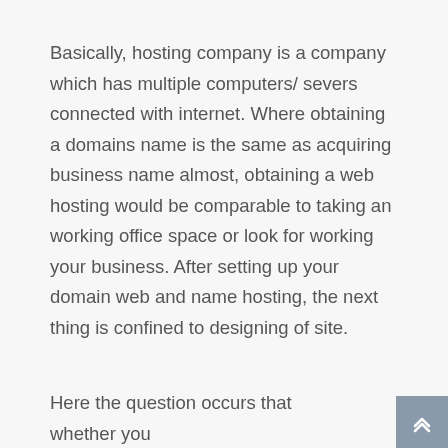Basically, hosting company is a company which has multiple computers/ severs connected with internet. Where obtaining a domains name is the same as acquiring business name almost, obtaining a web hosting would be comparable to taking an working office space or look for working your business. After setting up your domain web and name hosting, the next thing is confined to designing of site.
Here the question occurs that whether you